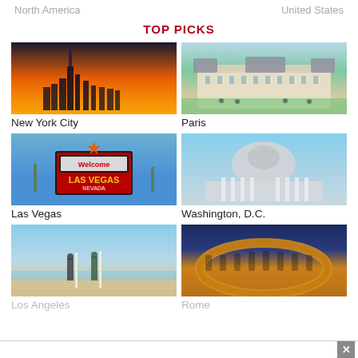North America
United States
TOP PICKS
[Figure (photo): New York City skyline at sunset with orange sky]
New York City
[Figure (photo): Paris - Luxembourg Palace with gardens and people]
Paris
[Figure (photo): Welcome to Las Vegas Nevada sign]
Las Vegas
[Figure (photo): Washington D.C. Capitol dome close-up with columns]
Washington, D.C.
[Figure (photo): Los Angeles beach with surfers carrying boards]
Los Angeles
[Figure (photo): Rome Colosseum at night with blue sky]
Rome